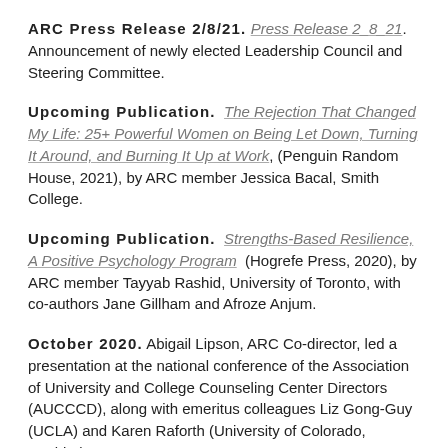ARC Press Release 2/8/21. Press Release 2_8_21. Announcement of newly elected Leadership Council and Steering Committee.
Upcoming Publication. The Rejection That Changed My Life: 25+ Powerful Women on Being Let Down, Turning It Around, and Burning It Up at Work, (Penguin Random House, 2021), by ARC member Jessica Bacal, Smith College.
Upcoming Publication. Strengths-Based Resilience, A Positive Psychology Program (Hogrefe Press, 2020), by ARC member Tayyab Rashid, University of Toronto, with co-authors Jane Gillham and Afroze Anjum.
October 2020. Abigail Lipson, ARC Co-director, led a presentation at the national conference of the Association of University and College Counseling Center Directors (AUCCCD), along with emeritus colleagues Liz Gong-Guy (UCLA) and Karen Raforth (University of Colorado, Boulder)